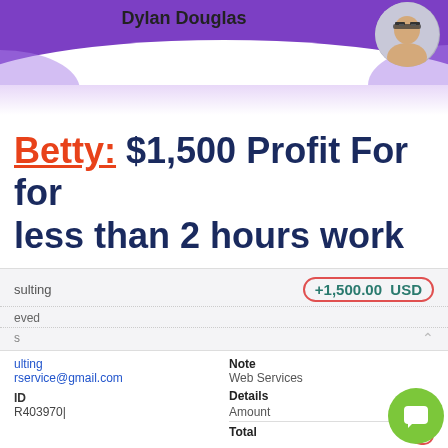[Figure (illustration): Purple wave header banner with 'Dylan Douglas' text and circular profile photo of a man with glasses]
Betty: $1,500 Profit For for less than 2 hours work
[Figure (screenshot): Payment receipt screenshot showing +1,500.00 USD circled in red, with details: consulting, Web Services note, Amount 1,500, Total circled in red, transaction ID R403970, and a details link]
[Figure (logo): Green circle with white chat/intercom icon]